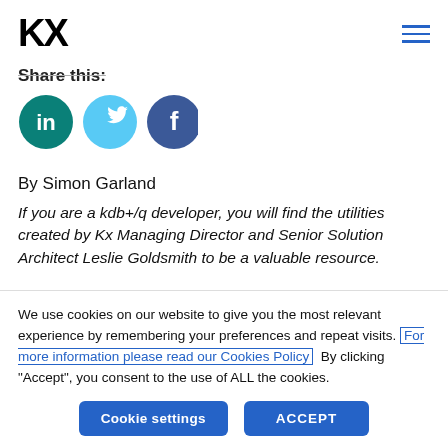KX
Share this:
[Figure (illustration): Three social media icons: LinkedIn (teal circle with 'in'), Twitter (light blue circle with bird icon), Facebook (dark blue circle with 'f')]
By Simon Garland
If you are a kdb+/q developer, you will find the utilities created by Kx Managing Director and Senior Solution Architect Leslie Goldsmith to be a valuable resource.
We use cookies on our website to give you the most relevant experience by remembering your preferences and repeat visits. For more information please read our Cookies Policy By clicking "Accept", you consent to the use of ALL the cookies.
Cookie settings | ACCEPT